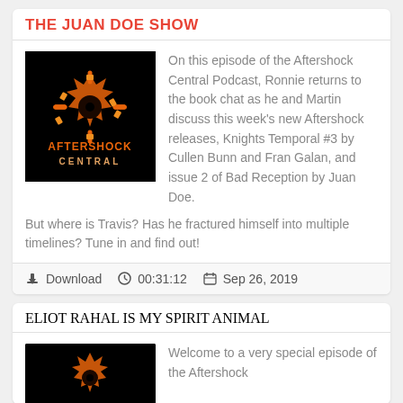THE JUAN DOE SHOW
[Figure (logo): Aftershock Central podcast logo — black background with orange/red burst symbol and AFTERSHOCK CENTRAL text]
On this episode of the Aftershock Central Podcast, Ronnie returns to the book chat as he and Martin discuss this week's new Aftershock releases, Knights Temporal #3 by Cullen Bunn and Fran Galan, and issue 2 of Bad Reception by Juan Doe. But where is Travis? Has he fractured himself into multiple timelines? Tune in and find out!
Download  00:31:12  Sep 26, 2019
ELIOT RAHAL IS MY SPIRIT ANIMAL
[Figure (logo): Aftershock Central podcast logo partial — black background with orange/red symbol]
Welcome to a very special episode of the Aftershock